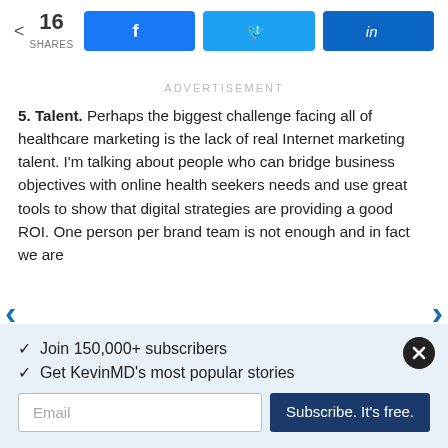[Figure (infographic): Social share bar with share count (16 SHARES) and Facebook, Twitter, LinkedIn buttons]
ADVERTISEMENT
5. Talent. Perhaps the biggest challenge facing all of healthcare marketing is the lack of real Internet marketing talent.  I'm talking about people who can bridge business objectives with online health seekers needs and use great tools to show that digital strategies are providing a good ROI. One person per brand team is not enough and in fact we are
✓ Join 150,000+ subscribers
✓ Get KevinMD's most popular stories
Email
Subscribe. It's free.